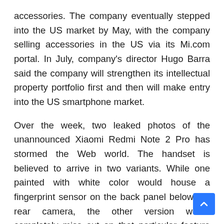accessories. The company eventually stepped into the US market by May, with the company selling accessories in the US via its Mi.com portal. In July, company's director Hugo Barra said the company will strengthen its intellectual property portfolio first and then will make entry into the US smartphone market.
Over the week, two leaked photos of the unannounced Xiaomi Redmi Note 2 Pro has stormed the Web world. The handset is believed to arrive in two variants. While one painted with white color would house a fingerprint sensor on the back panel below the rear camera, the other version would completely miss out on that particular feature and would be of dark gray color. The phone will cost approximately 170 $ or Rs.10,000 and will be available from the early part of 2016.